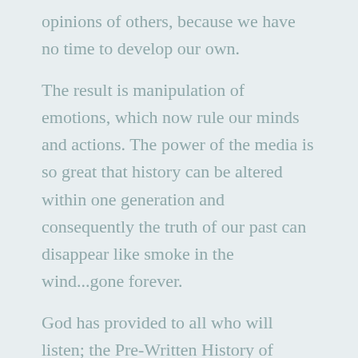opinions of others, because we have no time to develop our own.
The result is manipulation of emotions, which now rule our minds and actions. The power of the media is so great that history can be altered within one generation and consequently the truth of our past can disappear like smoke in the wind...gone forever.
God has provided to all who will listen; the Pre-Written History of mankind's Past, Present and Future. It is a history written by God who offers His Creatures choices with